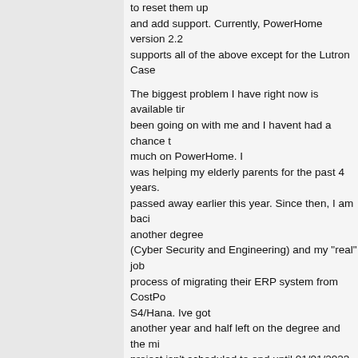to reset them up and add support. Currently, PowerHome version 2.2 supports all of the above except for the Lutron Case
The biggest problem I have right now is available time. A lot has been going on with me and I havent had a chance to work much on PowerHome. I was helping my elderly parents for the past 4 years. My dad passed away earlier this year. Since then, I am back to getting another degree (Cyber Security and Engineering) and my "real" job is in the process of migrating their ERP system from CostPoint to SAP S4/Hana. Ive got another year and half left on the degree and the migration project isn't scheduled to end until 01/01/2023. Currently either working or studying.
I do plan on releasing another update soon to the current PowerHome codebase. This will just be a patch to fix bugs and the problems with the Insteon controller device scan on startup issue. These seem to be the major issues at the moment so I'd like to get those fixed. I am building a new development machine that will allow me to migrate PowerHome to the latest PowerBuilder 2022 and Visual Studio 2022 codebase as well as the latest versions of the Catalyst controls so we should get some more capability and new features once that
Anyways, sorry to write a book but wanted to unde